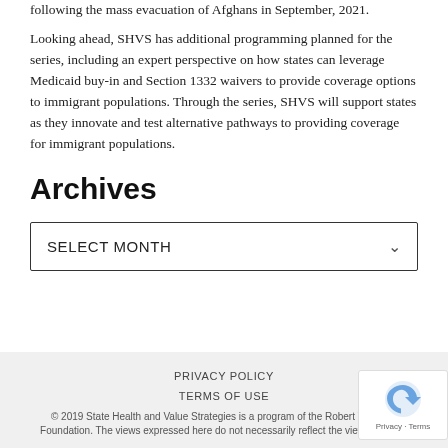following the mass evacuation of Afghans in September, 2021.
Looking ahead, SHVS has additional programming planned for the series, including an expert perspective on how states can leverage Medicaid buy-in and Section 1332 waivers to provide coverage options to immigrant populations. Through the series, SHVS will support states as they innovate and test alternative pathways to providing coverage for immigrant populations.
Archives
SELECT MONTH
PRIVACY POLICY
TERMS OF USE
© 2019 State Health and Value Strategies is a program of the Robert Wood Jo Foundation. The views expressed here do not necessarily reflect the views of the R